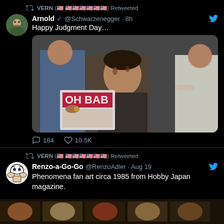VERN (🇺🇸 🇺🇸🇺🇸🇺🇸🇺🇸🇺🇸🇺🇸) Retweeted
Arnold ✓ @Schwarzenegger · 8h
Happy Judgment Day…
[Figure (photo): Behind-the-scenes photo of Arnold Schwarzenegger in makeup for Terminator, holding a baby magazine, with makeup artists working on him]
184   10.5K
VERN (🇺🇸 🇺🇸🇺🇸🇺🇸🇺🇸🇺🇸🇺🇸) Retweeted
Renzo-a-Go-Go @RenzoAdler · Aug 19
Phenomena fan art circa 1985 from Hobby Japan magazine.
[Figure (illustration): Partial illustration visible at bottom of page from Hobby Japan magazine]